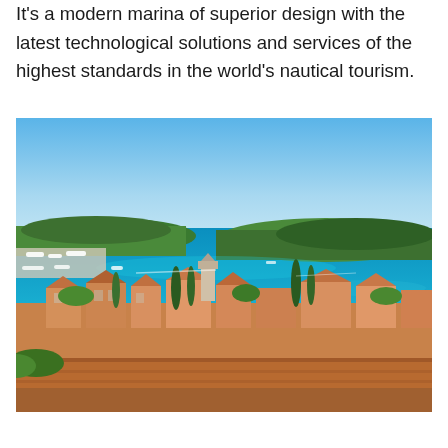It's a modern marina of superior design with the latest technological solutions and services of the highest standards in the world's nautical tourism.
[Figure (photo): Aerial panoramic view of a coastal Mediterranean town with terracotta-roofed buildings, marina with sailboats, turquoise-blue sea, and green forested peninsulas in the background under a clear blue sky. Likely Rovinj, Croatia.]